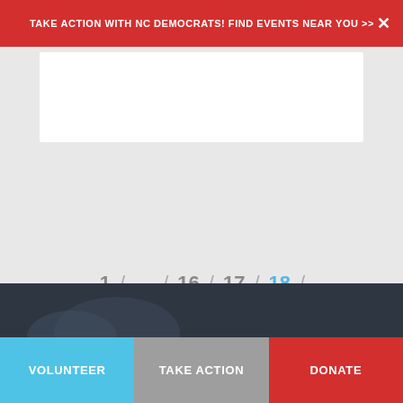Take action with NC Democrats! Find events near you >>
[Figure (screenshot): White content card area]
1 / … / 16 / 17 / 18 / 19 / 20
[Figure (infographic): Social share icons: Facebook, Twitter, Email]
[Figure (photo): Dark footer area with partial image]
Volunteer | Take Action | Donate